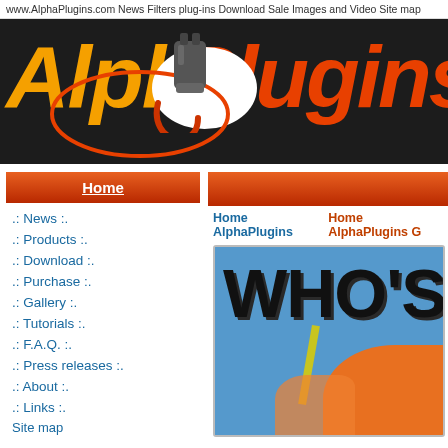www.AlphaPlugins.com News Filters plug-ins Download Sale Images and Video Site map
[Figure (logo): AlphaPlugins logo with orange 'Alpha' text, red 'Plugins' text, a plug icon and orange oval outline on dark background]
Home
.: News :.
.: Products :.
.: Download :.
.: Purchase :.
.: Gallery :.
.: Tutorials :.
.: F.A.Q. :.
.: Press releases :.
.: About :.
.: Links :.
Site map
Home AlphaPlugins
Home AlphaPlugins G
[Figure (photo): Image showing graffiti-style text 'WHO'S' on a blue background with orange and yellow elements at the bottom]